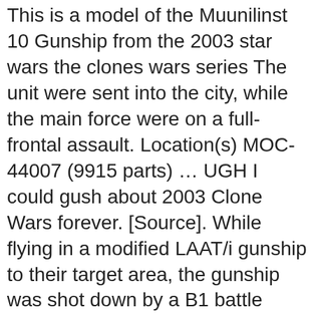This is a model of the Muunilinst 10 Gunship from the 2003 star wars the clones wars series The unit were sent into the city, while the main force were on a full-frontal assault. Location(s) MOC-44007 (9915 parts) … UGH I could gush about 2003 Clone Wars forever. [Source]. While flying in a modified LAAT/i gunship to their target area, the gunship was shot down by a B1 battle droid with a rocket launcher, and it crash-landed in the city. We provide a class of customer service like no other. The Muunilinst 10 was sent to Hypori to rescue the survivors from the encounter with General Grievous. Shortly after this, Fordo called for backup. It reached 500 supporters on October 12, 2013. Other systems The unit was organized for a mission to the planet Muunilinst. The Muunilinst 10 This Low Altitude Assault Transport was used by The Muunilinst 10 during their mission to Hypori. The Low Altitude Assault Transport, or LAAT, was a line of gunship used by the Grand Army of the Republic. Share to Twitter Share to Facebook. My friend Timmy sent me the LEGO Star Wars Republic Gunship we all probably want LEGO to make: The Muunilinst 10 Gunship! The Muunilinst 10[7] A clone commando...